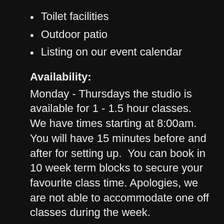Toilet facilities
Outdoor patio
Listing on our event calendar
Availability:
Monday - Thursdays the studio is available for 1 - 1.5 hour classes.  We have times starting at 8:00am.  You will have 15 minutes before and after for setting up.  You can book in 10 week term blocks to secure your favourite class time.  Apologies, we  are not able to accommodate one off classes during the week.
Friday - Sunday we hire the space out for either one to three days events.  You will be granted